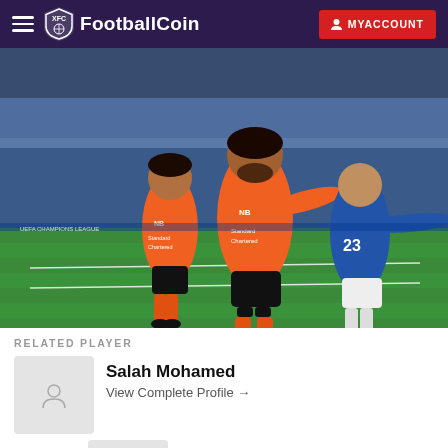FootballCoin | MYACCOUNT
[Figure (photo): Two Liverpool FC players in orange jerseys celebrating on football pitch, with opponent player number 23 in background]
RELATED PLAYER
Salah Mohamed
View Complete Profile →
Mane Sadio
View Complete Profile →